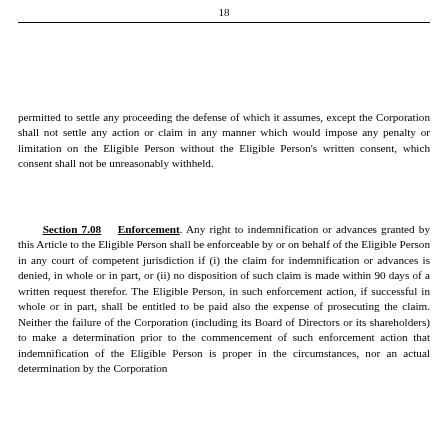18
permitted to settle any proceeding the defense of which it assumes, except the Corporation shall not settle any action or claim in any manner which would impose any penalty or limitation on the Eligible Person without the Eligible Person's written consent, which consent shall not be unreasonably withheld.
Section 7.08    Enforcement. Any right to indemnification or advances granted by this Article to the Eligible Person shall be enforceable by or on behalf of the Eligible Person in any court of competent jurisdiction if (i) the claim for indemnification or advances is denied, in whole or in part, or (ii) no disposition of such claim is made within 90 days of a written request therefor. The Eligible Person, in such enforcement action, if successful in whole or in part, shall be entitled to be paid also the expense of prosecuting the claim. Neither the failure of the Corporation (including its Board of Directors or its shareholders) to make a determination prior to the commencement of such enforcement action that indemnification of the Eligible Person is proper in the circumstances, nor an actual determination by the Corporation